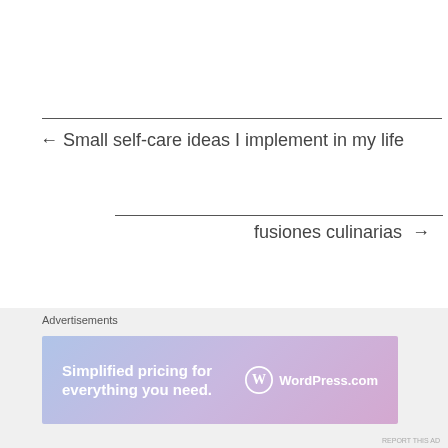← Small self-care ideas I implement in my life
fusiones culinarias →
Advertisements
[Figure (screenshot): WordPress.com advertisement banner: 'Simplified pricing for everything you need.' with WordPress.com logo on gradient background]